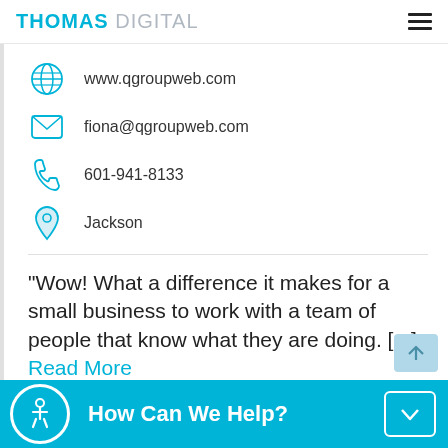THOMAS DIGITAL
www.qgroupweb.com
fiona@qgroupweb.com
601-941-8133
Jackson
"Wow! What a difference it makes for a small business to work with a team of people that know what they are doing. [...] Read More
Kelly Gregory
How Can We Help?